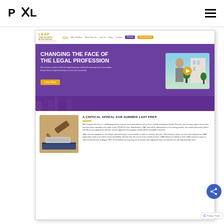PXL (logo) | hamburger menu
[Figure (screenshot): Screenshot of the LEAP (Legal Education Access Pipeline) website showing the homepage with navigation bar, a purple hero banner reading 'CHANGING THE FACE OF THE LEGAL PROFESSION' with a video thumbnail on the right, and a content section below showing a gavel image on the left and an article titled 'A CRITICAL APPEAL FOR SUMMER LSAT PREP' on the right with body text about COVID-19 challenges and LSAC support.]